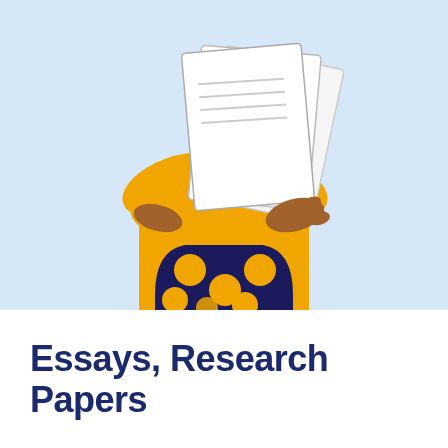[Figure (illustration): A flat-style illustration of a person (shown from neck to waist) wearing a yellow long-sleeve top and a dark navy blue polka-dot skirt with large yellow dots, holding a stack of white papers/documents with both arms.]
Essays, Research Papers